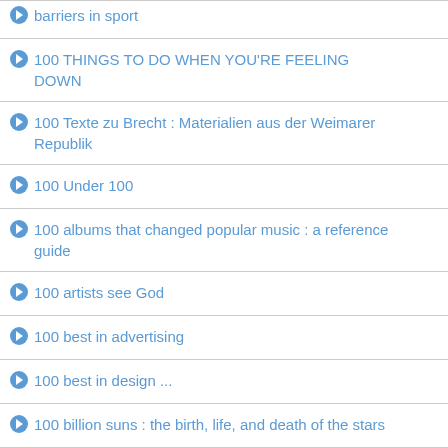barriers in sport
100 THINGS TO DO WHEN YOU'RE FEELING DOWN
100 Texte zu Brecht : Materialien aus der Weimarer Republik
100 Under 100
100 albums that changed popular music : a reference guide
100 artists see God
100 best in advertising
100 best in design ...
100 billion suns : the birth, life, and death of the stars